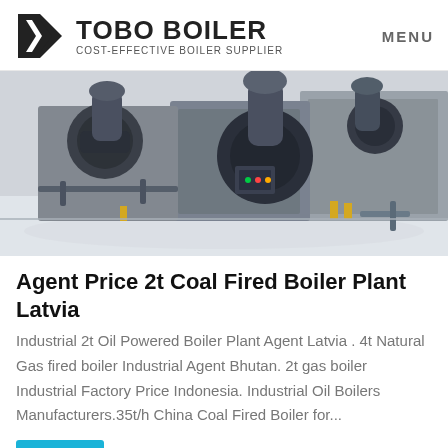TOBO BOILER COST-EFFECTIVE BOILER SUPPLIER | MENU
[Figure (photo): Industrial boiler room with multiple dark grey gas/oil fired boilers on a reflective white floor, pipes and burner assemblies visible]
Agent Price 2t Coal Fired Boiler Plant Latvia
Industrial 2t Oil Powered Boiler Plant Agent Latvia . 4t Natural Gas fired boiler Industrial Agent Bhutan. 2t gas boiler Industrial Factory Price Indonesia. Industrial Oil Boilers Manufacturers.35t/h China Coal Fired Boiler for...